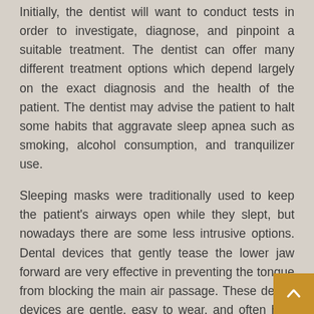Initially, the dentist will want to conduct tests in order to investigate, diagnose, and pinpoint a suitable treatment. The dentist can offer many different treatment options which depend largely on the exact diagnosis and the health of the patient. The dentist may advise the patient to halt some habits that aggravate sleep apnea such as smoking, alcohol consumption, and tranquilizer use.
Sleeping masks were traditionally used to keep the patient's airways open while they slept, but nowadays there are some less intrusive options. Dental devices that gently tease the lower jaw forward are very effective in preventing the tongue from blocking the main air passage. These dental devices are gentle, easy to wear, and often help patients avoid unwanted surgeries.